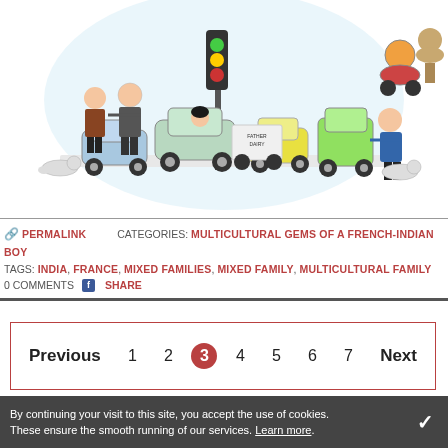[Figure (illustration): Colorful cartoon illustration of chaotic Indian traffic scene with cars, auto-rickshaws, motorcycles, a traffic policeman, animals, and various characters in a busy street with a traffic light]
PERMALINK   CATEGORIES: MULTICULTURAL GEMS OF A FRENCH-INDIAN BOY
TAGS: INDIA, FRANCE, MIXED FAMILIES, MIXED FAMILY, MULTICULTURAL FAMILY
0 COMMENTS   f SHARE
Previous   1  2  3  4  5  6  7   Next
By continuing your visit to this site, you accept the use of cookies. These ensure the smooth running of our services. Learn more.